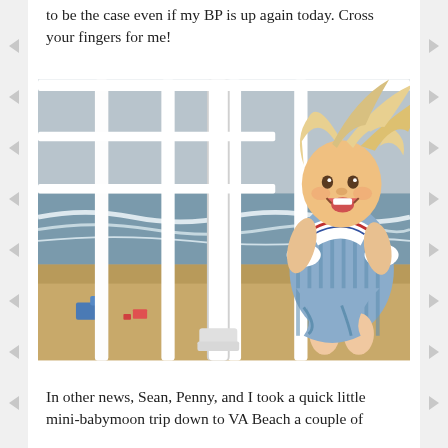to be the case even if my BP is up again today. Cross your fingers for me!
[Figure (photo): A smiling toddler with windswept blonde hair, wearing a blue striped sailor dress with white collar and cuffs, standing on a balcony with white railings. The background shows a beach with ocean waves, gray sky, and sandy beach with some beach goers and gear visible.]
In other news, Sean, Penny, and I took a quick little mini-babymoon trip down to VA Beach a couple of